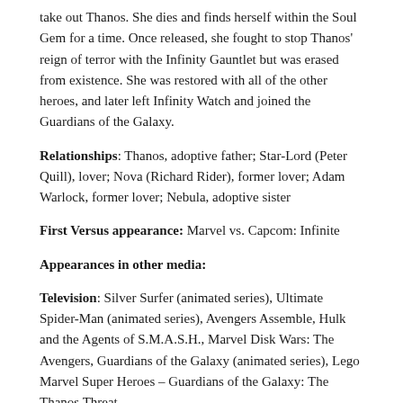take out Thanos. She dies and finds herself within the Soul Gem for a time. Once released, she fought to stop Thanos' reign of terror with the Infinity Gauntlet but was erased from existence. She was restored with all of the other heroes, and later left Infinity Watch and joined the Guardians of the Galaxy.
Relationships: Thanos, adoptive father; Star-Lord (Peter Quill), lover; Nova (Richard Rider), former lover; Adam Warlock, former lover; Nebula, adoptive sister
First Versus appearance: Marvel vs. Capcom: Infinite
Appearances in other media:
Television: Silver Surfer (animated series), Ultimate Spider-Man (animated series), Avengers Assemble, Hulk and the Agents of S.M.A.S.H., Marvel Disk Wars: The Avengers, Guardians of the Galaxy (animated series), Lego Marvel Super Heroes – Guardians of the Galaxy: The Thanos Threat